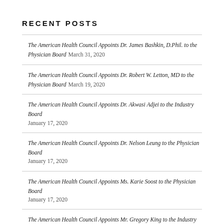RECENT POSTS
The American Health Council Appoints Dr. James Bashkin, D.Phil. to the Physician Board March 31, 2020
The American Health Council Appoints Dr. Robert W. Letton, MD to the Physician Board March 19, 2020
The American Health Council Appoints Dr. Akwasi Adjei to the Industry Board January 17, 2020
The American Health Council Appoints Dr. Nelson Leung to the Physician Board January 17, 2020
The American Health Council Appoints Ms. Karie Soost to the Physician Board January 17, 2020
The American Health Council Appoints Mr. Gregory King to the Industry Board January 17, 2020